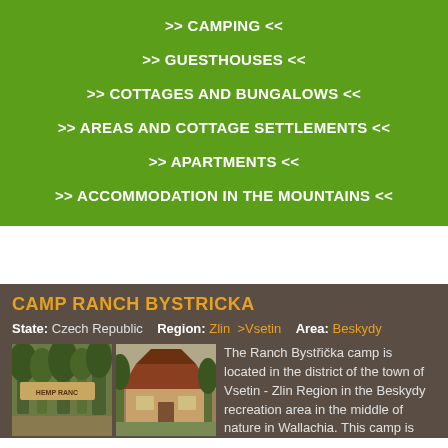>> CAMPING <<
>> GUESTHOUSES <<
>> COTTAGES AND BUNGALOWS <<
>> AREAS AND COTTAGE SETTLEMENTS <<
>> APARTMENTS <<
>> ACCOMMODATION IN THE MOUNTAINS <<
CAMP RANCH BYSTRICKA
State: Czech Republic   Region: Zlin >Vsetin   Area: Beskydy
[Figure (photo): Two photos side by side showing Ranch Bystricka camp: left photo shows trees and a sign reading HEMP RANC, right photo shows a wooden building with a chalet-style roof]
The Ranch Bystřička camp is located in the district of the town of Vsetin - Zlin Region in the Beskydy recreation area in the middle of nature in Wallachia. This camp is